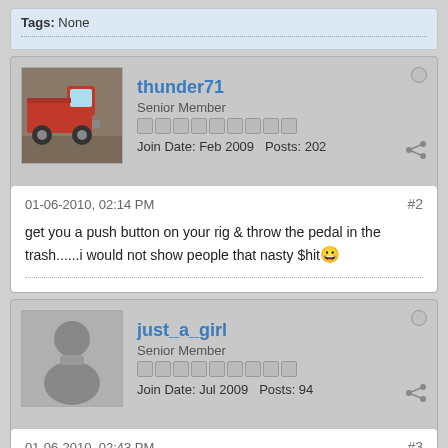Tags: None
thunder71
Senior Member
Join Date: Feb 2009  Posts: 202
01-06-2010, 02:14 PM
#2
get you a push button on your rig & throw the pedal in the trash......i would not show people that nasty $hit
just_a_girl
Senior Member
Join Date: Jul 2009  Posts: 94
01-06-2010, 02:43 PM
#3
What machine & what tungsten?